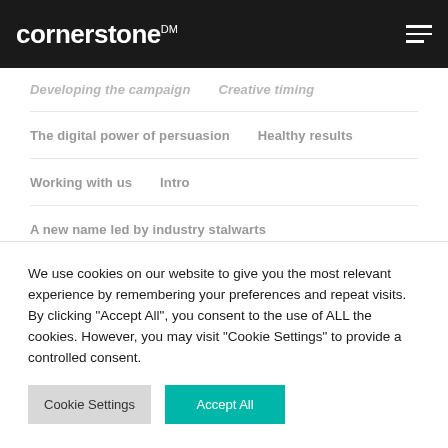cornerstone™
Developing the campaign   Creative timing
The digital power of persuasion   Healthy results
Working with us   Intro
A new name led by industry stalwarts
Meeting multiple objectives
Brand values and identity   Website Workshop
Tone of voice and terminology
We use cookies on our website to give you the most relevant experience by remembering your preferences and repeat visits. By clicking "Accept All", you consent to the use of ALL the cookies. However, you may visit "Cookie Settings" to provide a controlled consent.
Cookie Settings   Accept All